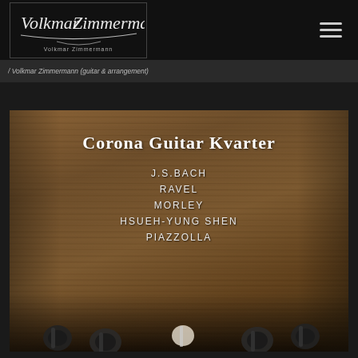[Figure (logo): Volkmar Zimmermann signature logo in white on dark background]
/ Volkmar Zimmermann (guitar & arrangement)
[Figure (photo): Album cover for Corona Guitar Kvarter featuring composers J.S.Bach, Ravel, Morley, Hsueh-Yung Shen, Piazzolla. Wood texture background with guitar tuning pegs visible at bottom.]
Corona Guitar Kvarter
J.S.BACH
RAVEL
MORLEY
HSUEH-YUNG SHEN
PIAZZOLLA